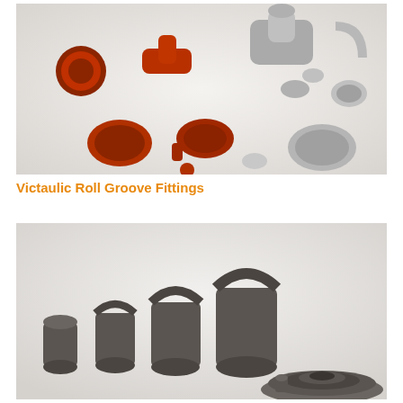[Figure (photo): Various Victaulic roll groove pipe fittings arranged on a white background, including red-painted and galvanized metal elbows, tees, couplings, caps, and clamps of assorted sizes.]
Victaulic Roll Groove Fittings
[Figure (photo): Dark gray cast iron pipe fittings and components arranged on a white background, including cylindrical sockets, saddle-shaped grooved fittings of increasing sizes, and a large circular flange/disc assembly.]